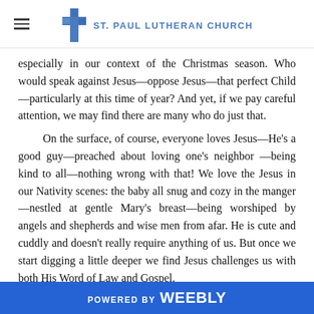ST. PAUL LUTHERAN CHURCH
especially in our context of the Christmas season.  Who would speak against Jesus—oppose Jesus—that perfect Child—particularly at this time of year?  And yet, if we pay careful attention, we may find there are many who do just that.
On the surface, of course, everyone loves Jesus—He's a good guy—preached about loving one's neighbor—being kind to all—nothing wrong with that!  We love the Jesus in our Nativity scenes:  the baby all snug and cozy in the manger—nestled at gentle Mary's breast—being worshiped by angels and shepherds and wise men from afar.  He is cute and cuddly and doesn't really require anything of us.  But once we start digging a little deeper we find Jesus challenges us with both His Word of Law and Gospel.
For the babe born in Bethlehem would not long
POWERED BY weebly